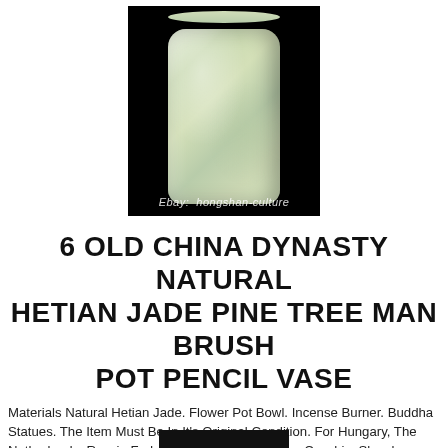[Figure (photo): Photo of a pale green natural Hetian jade pine tree carved pencil vase/brush pot against a black background. Watermark reads: Ebay: hongshan-culture]
6 OLD CHINA DYNASTY NATURAL HETIAN JADE PINE TREE MAN BRUSH POT PENCIL VASE
Materials Natural Hetian Jade. Flower Pot Bowl. Incense Burner. Buddha Statues. The Item Must Be In It's Original Condition. For Hungary, The Netherlands, Russia Federation, Iceland, Anguilla, Czechic, Slovak, Anguilla, Chile And Other Eastern.